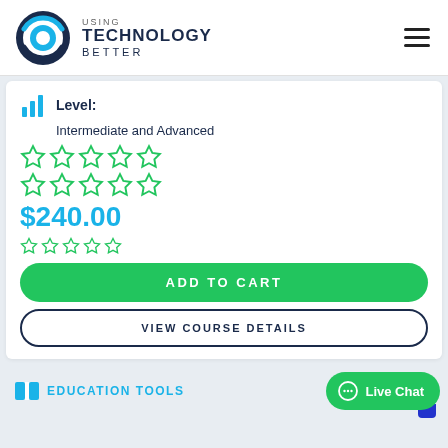[Figure (logo): Using Technology Better logo with circular arrow icon and text USING TECHNOLOGY BETTER]
Level:
Intermediate and Advanced
[Figure (illustration): Two rows of 5 green outline stars each]
$240.00
[Figure (illustration): One row of 5 small empty star outlines (rating)]
ADD TO CART
VIEW COURSE DETAILS
EDUCATION TOOLS
Live Chat